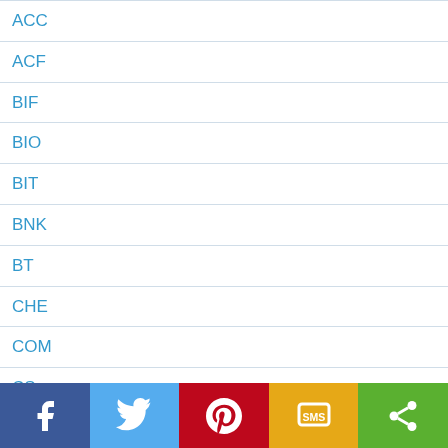ACC
ACF
BIF
BIO
BIT
BNK
BT
CHE
COM
CS
ECO
EDU
ENG
ETH
FIN